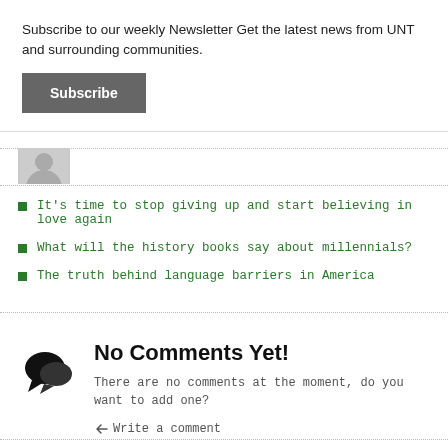× (close button)
Subscribe to our weekly Newsletter Get the latest news from UNT and surrounding communities.
Subscribe
[Figure (illustration): User avatar placeholder image — grey arc shape on light grey background]
It's time to stop giving up and start believing in love again
What will the history books say about millennials?
The truth behind language barriers in America
[Figure (illustration): Two overlapping speech bubble icons in black, representing comments]
No Comments Yet!
There are no comments at the moment, do you want to add one?
Write a comment